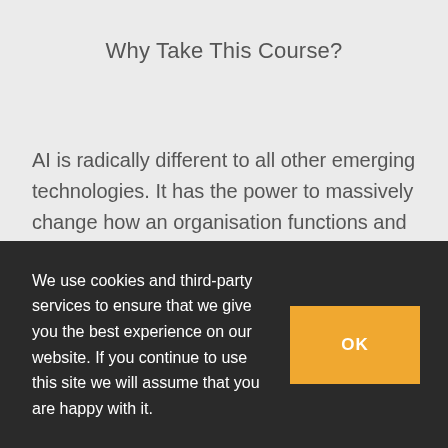Why Take This Course?
AI is radically different to all other emerging technologies. It has the power to massively change how an organisation functions and competes. It’s true value can only be unleashed when the leadership gives strong direction on how to
We use cookies and third-party services to ensure that we give you the best experience on our website. If you continue to use this site we will assume that you are happy with it.
OK